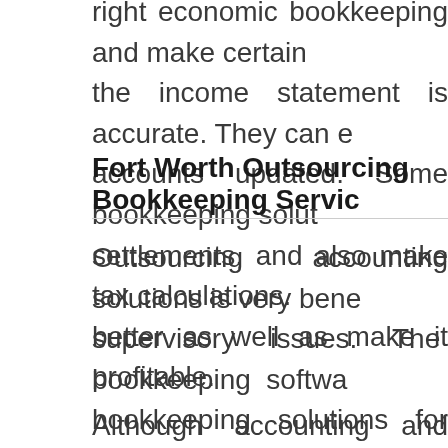right economic bookkeeping and make certain the income statement is accurate. They can e accounts updated. Some bookkeeping solut settlements, and also make tax calculations. better as well as make it profitable.
Fort Worth Outsourcing Bookkeeping Servic
Outsourcing accounting solutions is very bene supervisory issues. The bookkeeping softwa bookkeeping solutions for small company prop This software program is used by the contra firm. Since it is readily available online, all the a can be outsourced through net and also the fir
Although accounting and bookkeeping service since they make the monetary records more